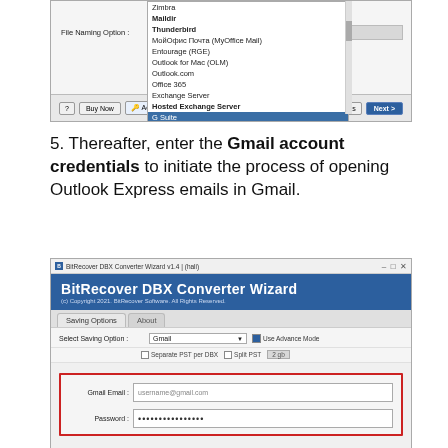[Figure (screenshot): Screenshot of a software wizard showing a dropdown list with email client options including Zimbra, Maildir, Thunderbird, МойОфис Почта (MyOffice Mail), Entourage (RGE), Outlook for Mac (OLM), Outlook.com, Office 365, Exchange Server, Hosted Exchange Server, G Suite, IBM Verse, Amazon Workmail, IMAP. File Naming Option label visible. Buttons: ?, Buy Now, Activ..., Previous, Next.]
5. Thereafter, enter the Gmail account credentials to initiate the process of opening Outlook Express emails in Gmail.
[Figure (screenshot): Screenshot of BitRecover DBX Converter Wizard v1.4 showing Gmail saving option selected, with Gmail Email field showing username@gmail.com and Password field with dots, surrounded by a red border.]